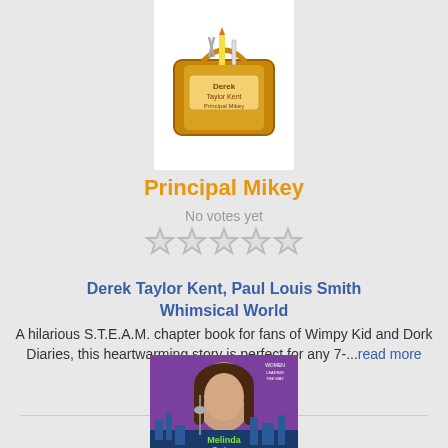[Figure (illustration): Book cover for 'Principal Mikey' by Derek Taylor Kent, showing a cartoon toolbox with school supplies]
Principal Mikey
No votes yet
[Figure (other): Five empty star rating icons]
Derek Taylor Kent, Paul Louis Smith
Whimsical World
A hilarious S.T.E.A.M. chapter book for fans of Wimpy Kid and Dork Diaries, this heartwarming story is perfect for any 7-...read more
Pages 169 Reads 7
[Figure (photo): Book cover for 'Melinda Gates' showing a woman with long dark hair in front of a city skyline, part of a 'Women Leading the Way' series]